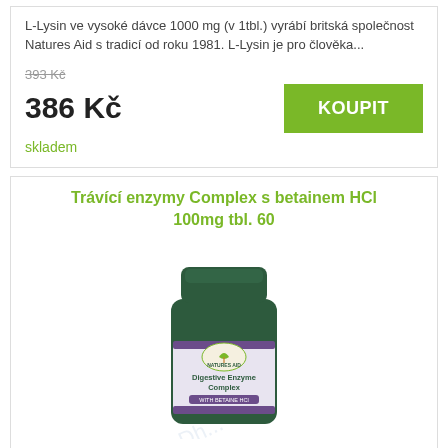L-Lysin ve vysoké dávce 1000 mg (v 1tbl.) vyrábí britská společnost Natures Aid s tradicí od roku 1981. L-Lysin je pro člověka...
393 Kč
386 Kč
KOUPIT
skladem
Trávící enzymy Complex s betainem HCl 100mg tbl. 60
[Figure (photo): Product photo of a dark green supplement bottle labeled 'Digestive Enzyme Complex with Betaine HCl' by Natures Aid, 60 tablets]
Komplex trávicích enzymů od britské společnosti Natures Aid, obsahuje betain hydrochlorid (betain HCl), amylázu, proteázu, lipázu,...